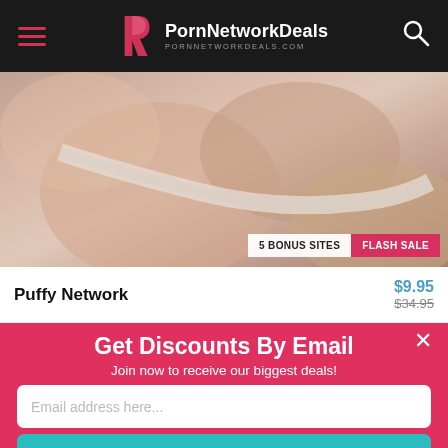PornNetworkDeals — PORNNETWORKDEALS.COM
[Figure (photo): Close-up product/lifestyle photo used as banner image for Puffy Network adult content site]
5 BONUS SITES   FLASH SALE
Puffy Network   $9.95   $34.95
Get Discounts By Email
Join now to receive our biggest deals!
Email address here...
Sign Up